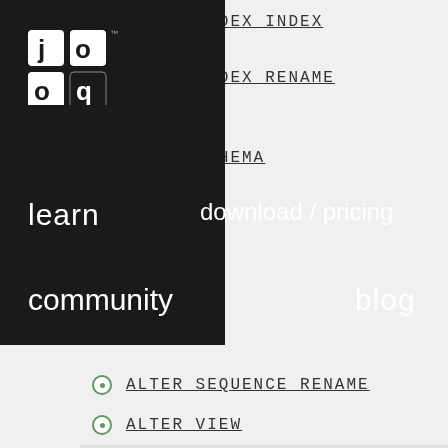jOOQ navigation overlay with links
ALTER INDEX INDEX
ALTER INDEX RENAME
ALTER SCHEMA
ALTER SEQUENCE RENAME
ALTER VIEW
ALTER VIEW RENAME
ALTER VIEW VIEW
CREATE SCHEMA
CREATE SCHEMA NAME
DROP SCHEMA
DROP SCHEMA SCHEMA
Configuration
derive(Executor)